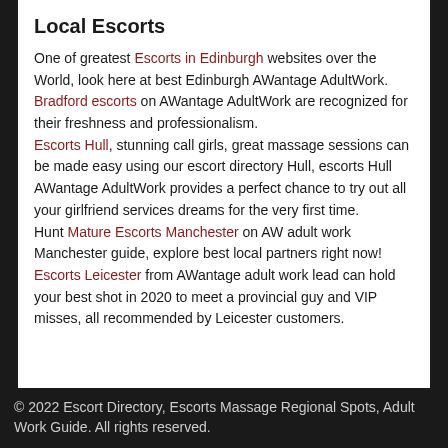Local Escorts
One of greatest Escorts in Edinburgh websites over the World, look here at best Edinburgh AWantage AdultWork. Bradford escorts on AWantage AdultWork are recognized for their freshness and professionalism. Escorts Hull, stunning call girls, great massage sessions can be made easy using our escort directory Hull, escorts Hull AWantage AdultWork provides a perfect chance to try out all your girlfriend services dreams for the very first time. Hunt Mature Escorts Manchester on AW adult work Manchester guide, explore best local partners right now! Escorts Leicester from AWantage adult work lead can hold your best shot in 2020 to meet a provincial guy and VIP misses, all recommended by Leicester customers.
© 2022 Escort Directory, Escorts Massage Regional Spots, Adult Work Guide. All rights reserved.